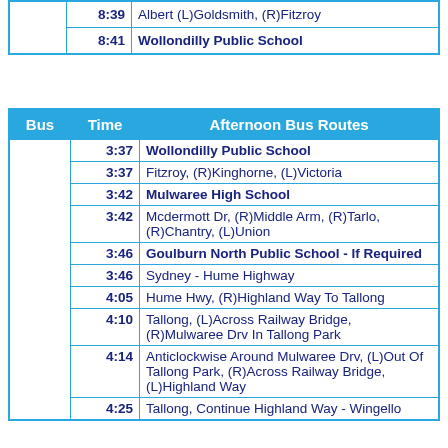| Bus | Time |  |
| --- | --- | --- |
|  | 8:39 | Albert (L)Goldsmith, (R)Fitzroy |
|  | 8:41 | Wollondilly Public School |
| Bus | Time | Afternoon Bus Routes |
| --- | --- | --- |
|  | 3:37 | Wollondilly Public School |
|  | 3:37 | Fitzroy, (R)Kinghorne, (L)Victoria |
|  | 3:42 | Mulwaree High School |
|  | 3:42 | Mcdermott Dr, (R)Middle Arm, (R)Tarlo, (R)Chantry, (L)Union |
|  | 3:46 | Goulburn North Public School - If Required |
|  | 3:46 | Sydney - Hume Highway |
|  | 4:05 | Hume Hwy, (R)Highland Way To Tallong |
|  | 4:10 | Tallong, (L)Across Railway Bridge, (R)Mulwaree Drv In Tallong Park |
|  | 4:14 | Anticlockwise Around Mulwaree Drv, (L)Out Of Tallong Park, (R)Across Railway Bridge, (L)Highland Way |
|  | 4:25 | Tallong, Continue Highland Way - Wingello |